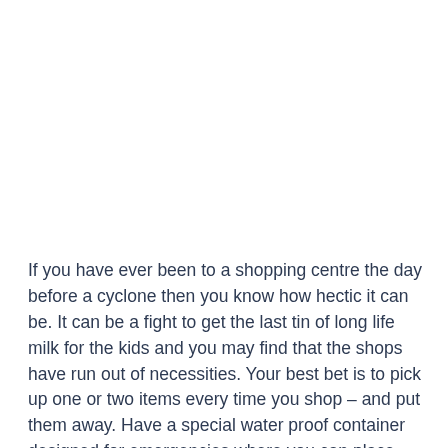If you have ever been to a shopping centre the day before a cyclone then you know how hectic it can be. It can be a fight to get the last tin of long life milk for the kids and you may find that the shops have run out of necessities. Your best bet is to pick up one or two items every time you shop – and put them away. Have a special water proof container designed for emergencies where you can place things like a torch